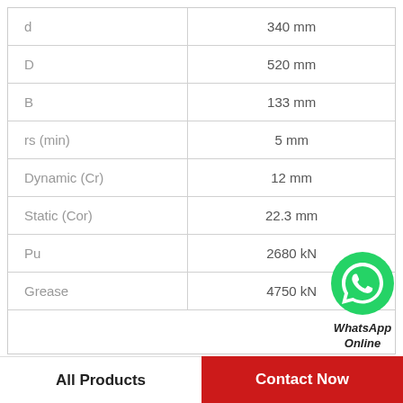| Parameter | Value |
| --- | --- |
| d | 340 mm |
| D | 520 mm |
| B | 133 mm |
| rs (min) | 5 mm |
| Dynamic (Cr) | 12 mm |
| Static (Cor) | 22.3 mm |
| Pu | 2680 kN |
| Grease | 4750 kN |
[Figure (illustration): WhatsApp Online button with green WhatsApp phone icon and bold italic text 'WhatsApp Online']
All Products    Contact Now